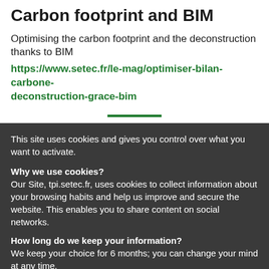Carbon footprint and BIM
Optimising the carbon footprint and the deconstruction thanks to BIM
https://www.setec.fr/le-mag/optimiser-bilan-carbone-deconstruction-grace-bim
This site uses cookies and gives you control over what you want to activate.

Why we use cookies?
Our Site, tpi.setec.fr, uses cookies to collect information about your browsing habits and help us improve and secure the website. This enables you to share content on social networks.

How long do we keep your information?
We keep your choice for 6 months; you can change your mind at any time.
✓ OK, accept all
✗ Deny all cookies
Customise my choices